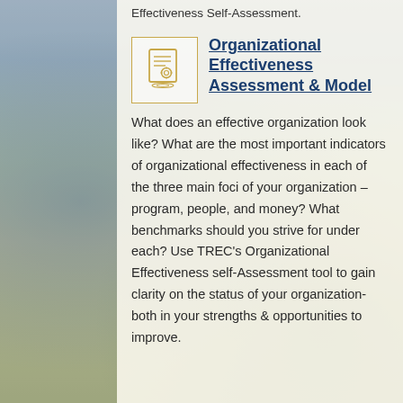Effectiveness Self-Assessment.
[Figure (illustration): Icon of a document with a gear/settings symbol, shown on a surface with ripple lines, inside a bordered box with gold/amber border.]
Organizational Effectiveness Assessment & Model
What does an effective organization look like? What are the most important indicators of organizational effectiveness in each of the three main foci of your organization – program, people, and money? What benchmarks should you strive for under each? Use TREC's Organizational Effectiveness self-Assessment tool to gain clarity on the status of your organization- both in your strengths & opportunities to improve.